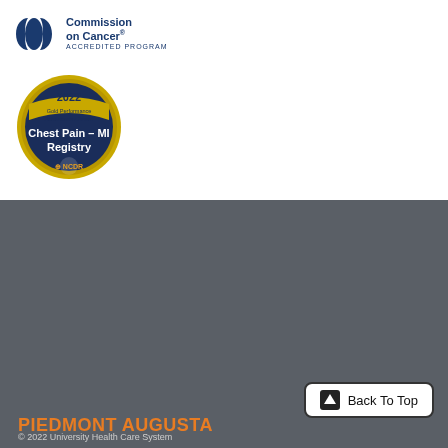[Figure (logo): Commission on Cancer Accredited Program logo with blue interlocking circles icon and text]
[Figure (logo): 2022 Gold Performance Achievement Award - Chest Pain MI Registry NCDR badge, circular gold medal design with dark blue center]
PIEDMONT AUGUSTA
1350 Walton Way, Augusta, GA
706-722-9011
Contact us at healthmail@uh.org
[Figure (other): Social media icons: Facebook, Twitter, Instagram, YouTube]
Back To Top
© 2022 University Health Care System